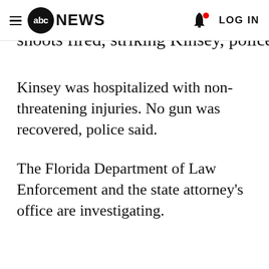abc NEWS  LOG IN
shoots fired, striking Kinsey, police said.
Kinsey was hospitalized with non-threatening injuries. No gun was recovered, police said.
The Florida Department of Law Enforcement and the state attorney's office are investigating.